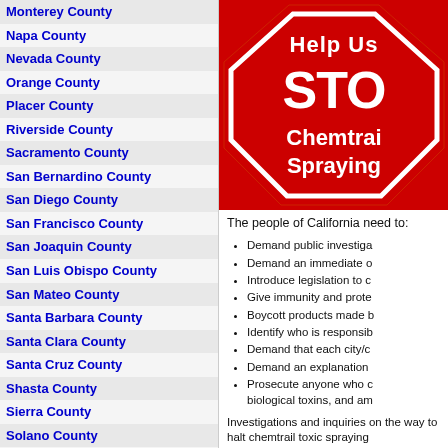Monterey County
Napa County
Nevada County
Orange County
Placer County
Riverside County
Sacramento County
San Bernardino County
San Diego County
San Francisco County
San Joaquin County
San Luis Obispo County
San Mateo County
Santa Barbara County
Santa Clara County
Santa Cruz County
Shasta County
Sierra County
Solano County
Sonoma County
Stanislaus County
Tulare County
Ventura County
Yolo County
Yuba County
States Reporting Chemtrails
[Figure (illustration): Red stop-sign shaped graphic with white text reading 'Help Us STOP Chemtrail Spraying!']
The people of California need to:
Demand public investiga...
Demand an immediate o...
Introduce legislation to c...
Give immunity and prote...
Boycott products made b...
Identify who is responsib...
Demand that each city/c...
Demand an explanation...
Prosecute anyone who c... biological toxins, and am...
Investigations and inquiries on the way to halt chemtrail toxic spraying...
When a free people no longer have the power over the air we tha... wellness. This means that we are...